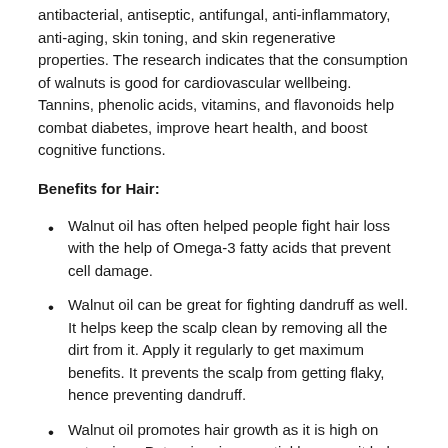antibacterial, antiseptic, antifungal, anti-inflammatory, anti-aging, skin toning, and skin regenerative properties. The research indicates that the consumption of walnuts is good for cardiovascular wellbeing. Tannins, phenolic acids, vitamins, and flavonoids help combat diabetes, improve heart health, and boost cognitive functions.
Benefits for Hair:
Walnut oil has often helped people fight hair loss with the help of Omega-3 fatty acids that prevent cell damage.
Walnut oil can be great for fighting dandruff as well. It helps keep the scalp clean by removing all the dirt from it. Apply it regularly to get maximum benefits. It prevents the scalp from getting flaky, hence preventing dandruff.
Walnut oil promotes hair growth as it is high on potassium. Potassium is essential because it helps the regeneration of cells and hence accelerates hair growth